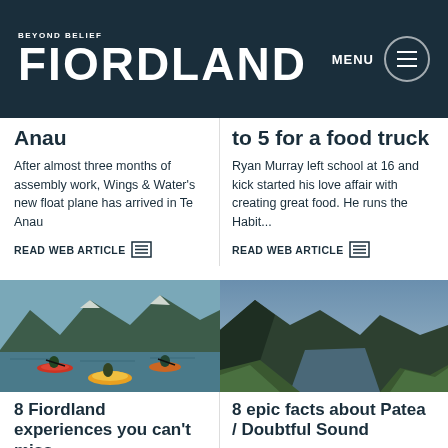BEYOND BELIEF FIORDLAND | MENU
Anau
to 5 for a food truck
After almost three months of assembly work, Wings & Water's new float plane has arrived in Te Anau
READ WEB ARTICLE
Ryan Murray left school at 16 and kick started his love affair with creating great food. He runs the Habit...
READ WEB ARTICLE
[Figure (photo): Kayakers paddling in Fiordland water with dramatic mountains in the background]
[Figure (photo): Aerial view of Doubtful Sound / Patea with forested mountains and a lake/fiord in the valley]
8 Fiordland experiences you can't miss
8 epic facts about Patea / Doubtful Sound